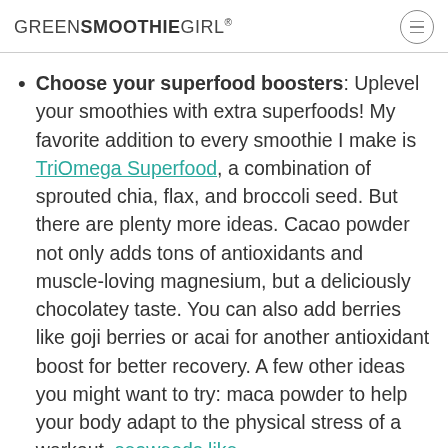GREENSMOOTHIEGIRL®
Choose your superfood boosters: Uplevel your smoothies with extra superfoods! My favorite addition to every smoothie I make is TriOmega Superfood, a combination of sprouted chia, flax, and broccoli seed. But there are plenty more ideas. Cacao powder not only adds tons of antioxidants and muscle-loving magnesium, but a deliciously chocolatey taste. You can also add berries like goji berries or acai for another antioxidant boost for better recovery. A few other ideas you might want to try: maca powder to help your body adapt to the physical stress of a workout, seaweeds like kelp and dulse for their mineral content and